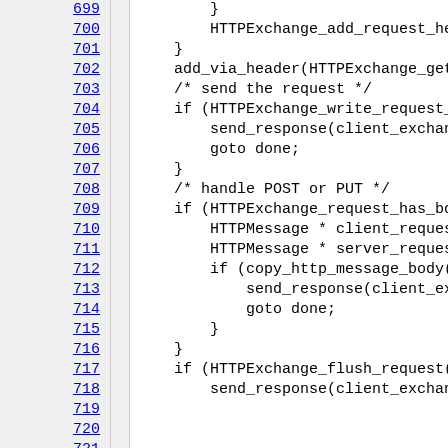[Figure (screenshot): Source code viewer showing lines 699–721 of a C program implementing HTTP proxy logic, with line numbers on the left in a gray column and code on the right on a white background.]